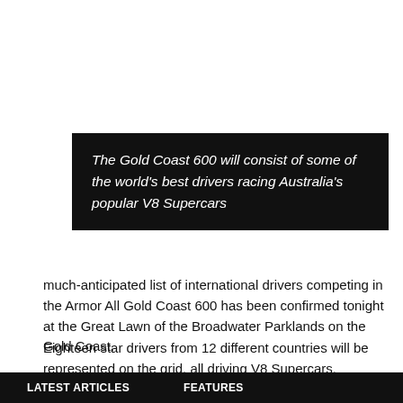[Figure (other): Black box with italic white text quote: The Gold Coast 600 will consist of some of the world's best drivers racing Australia's popular V8 Supercars]
much-anticipated list of international drivers competing in the Armor All Gold Coast 600 has been confirmed tonight at the Great Lawn of the Broadwater Parklands on the Gold Coast.
Eighteen star drivers from 12 different countries will be represented on the grid, all driving V8 Supercars.
The unique two-driver per-car Gold Coast 600 rules will see each two-car team get one international driver. The team will place that
LATEST ARTICLES    FEATURES